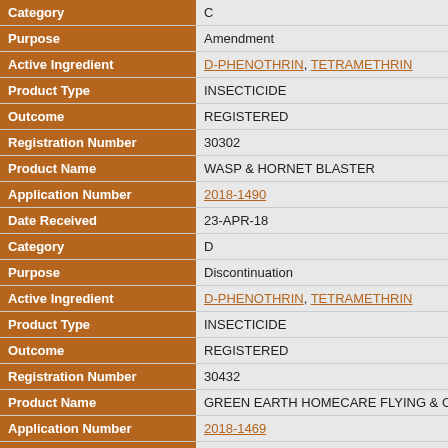| Field | Value |
| --- | --- |
| Category | C |
| Purpose | Amendment |
| Active Ingredient | D-PHENOTHRIN, TETRAMETHRIN |
| Product Type | INSECTICIDE |
| Outcome | REGISTERED |
| Registration Number | 30302 |
| Product Name | WASP & HORNET BLASTER |
| Application Number | 2018-1490 |
| Date Received | 23-APR-18 |
| Category | D |
| Purpose | Discontinuation |
| Active Ingredient | D-PHENOTHRIN, TETRAMETHRIN |
| Product Type | INSECTICIDE |
| Outcome | REGISTERED |
| Registration Number | 30432 |
| Product Name | GREEN EARTH HOMECARE FLYING & CRAW |
| Application Number | 2018-1469 |
| Date Received | 20-APR-18 |
| Category | C |
| Purpose | Amendment |
| Active Ingredient | D-PHENOTHRIN, TETRAMETHRIN, PYRIPRO |
| Product Type | INSECTICIDE |